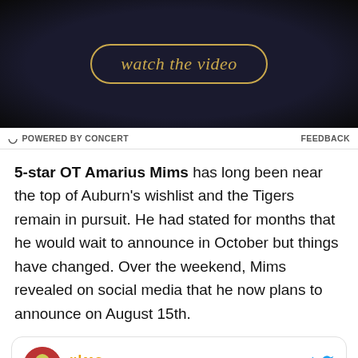[Figure (screenshot): Dark video banner with 'watch the video' button styled in gold italic text with a rounded gold border, on a black/dark background.]
POWERED BY CONCERT    FEEDBACK
5-star OT Amarius Mims has long been near the top of Auburn's wishlist and the Tigers remain in pursuit. He had stated for months that he would wait to announce in October but things have changed. Over the weekend, Mims revealed on social media that he now plans to announce on August 15th.
[Figure (screenshot): Embedded tweet from @amarius_mims (display name MIMS in gold stylized font) with Twitter bird logo. Tweet text: 'i will be committing AUG. 15th!!! MARK YOUR CALENDARS 🙂']